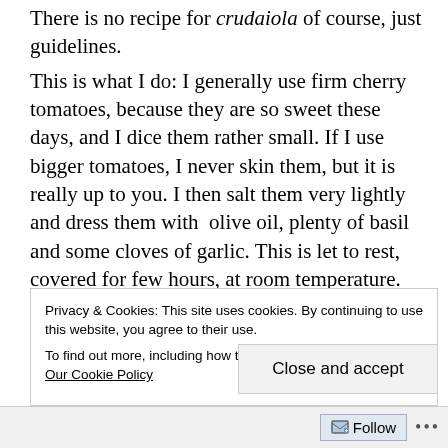There is no recipe for crudaiola of course, just guidelines.
This is what I do: I generally use firm cherry tomatoes, because they are so sweet these days, and I dice them rather small. If I use bigger tomatoes, I never skin them, but it is really up to you. I then salt them very lightly and dress them with  olive oil, plenty of basil and some cloves of garlic. This is let to rest, covered for few hours, at room temperature.
I cook the pasta, I drain it  thoroughly and I pour
Privacy & Cookies: This site uses cookies. By continuing to use this website, you agree to their use.
To find out more, including how to control cookies, see here: Our Cookie Policy